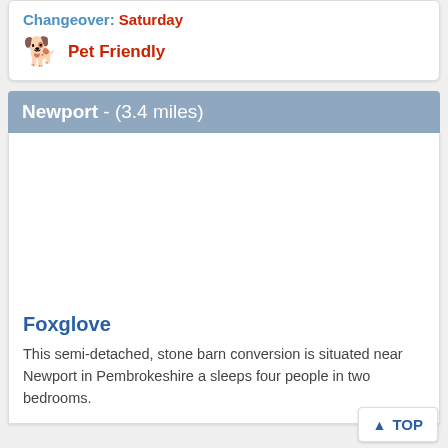Changeover: Saturday
Pet Friendly
Newport - (3.4 miles)
[Figure (photo): Property photo placeholder - white/empty area]
Foxglove
This semi-detached, stone barn conversion is situated near Newport in Pembrokeshire a sleeps four people in two bedrooms.